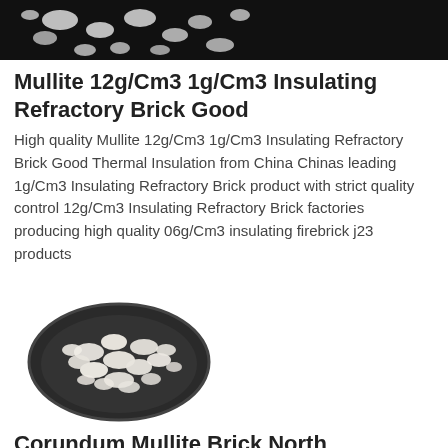[Figure (photo): Dark background photo showing white/light colored granule or aggregate material (mullite insulating refractory brick material), top portion cropped]
Mullite 12g/Cm3 1g/Cm3 Insulating Refractory Brick Good
High quality Mullite 12g/Cm3 1g/Cm3 Insulating Refractory Brick Good Thermal Insulation from China Chinas leading 1g/Cm3 Insulating Refractory Brick product with strict quality control 12g/Cm3 Insulating Refractory Brick factories producing high quality 06g/Cm3 insulating firebrick j23 products
[Figure (photo): Photo of white/cream colored corundum mullite granules/aggregate in a dark round bowl or plate, viewed from above at slight angle]
Corundum Mullite Brick North Refractories Co Ltd
20181214 Sintered corundum mullite bricks are produced by sintering of high purity fused